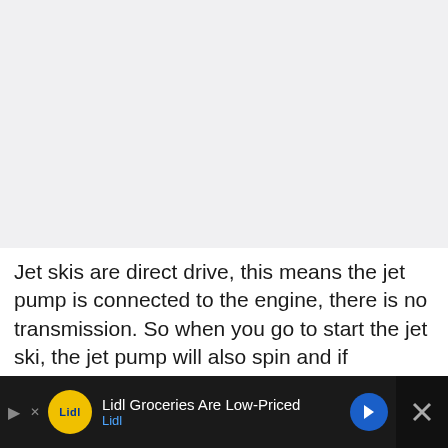[Figure (photo): Light gray placeholder image area at the top of the page]
Jet skis are direct drive, this means the jet pump is connected to the engine, there is no transmission. So when you go to start the jet ski, the jet pump will also spin and if something is stuck in the pump, it will keep the engine from starting.
[Figure (other): Advertisement bar at the bottom: Lidl Groceries Are Low-Priced, with Lidl logo, navigation arrow icon, and close button]